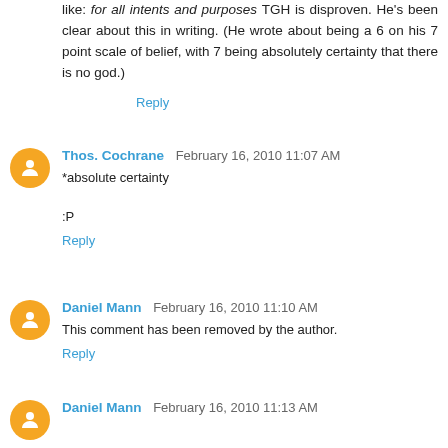like: for all intents and purposes TGH is disproven. He's been clear about this in writing. (He wrote about being a 6 on his 7 point scale of belief, with 7 being absolutely certainty that there is no god.)
Reply
Thos. Cochrane February 16, 2010 11:07 AM
*absolute certainty

:P
Reply
Daniel Mann February 16, 2010 11:10 AM
This comment has been removed by the author.
Reply
Daniel Mann February 16, 2010 11:13 AM